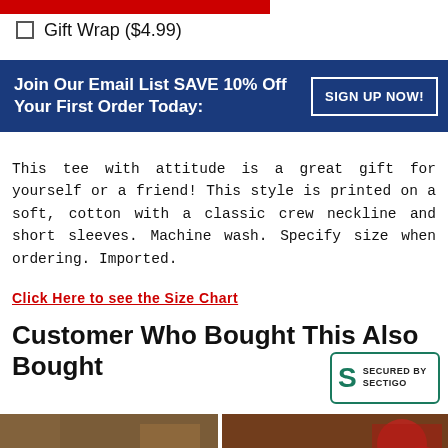[Figure (other): Red bar/button (partially visible) at top of page]
Gift Wrap ($4.99)
Join Our Email List SAVE 10% Off Your First Order Today:
SIGN UP NOW!
This tee with attitude is a great gift for yourself or a friend! This style is printed on a soft, cotton with a classic crew neckline and short sleeves. Machine wash. Specify size when ordering. Imported.
Click Here to see the Size Chart
Customer Who Bought This Also Bought
[Figure (photo): Photo of a puzzle table with green felt surface and wooden frame in a living room setting]
[Figure (photo): Photo of a puzzle board/table with puzzle pieces scattered on a wooden surface with holiday decorations]
[Figure (logo): Secured by Sectigo security badge with green S logo and text SECURED BY SECTIGO]